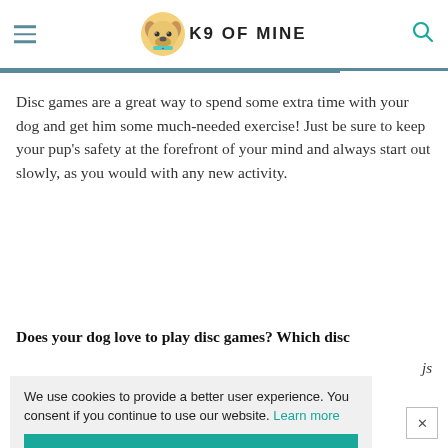K9 OF MINE
Disc games are a great way to spend some extra time with your dog and get him some much-needed exercise! Just be sure to keep your pup's safety at the forefront of your mind and always start out slowly, as you would with any new activity.
Does your dog love to play disc games? Which disc
We use cookies to provide a better user experience. You consent if you continue to use our website. Learn more
Got it